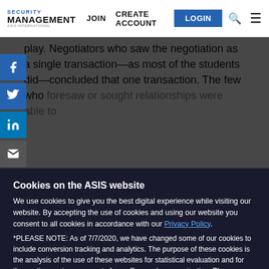SECURITY MANAGEMENT | JOIN | CREATE ACCOUNT | LOGIN
play. Negotiators who saw the negotiation as a single transaction—as most of the students did—concluded that one transaction. The few who foresaw or sought relationships were able to...
Cookies on the ASIS website
We use cookies to give you the best digital experience while visiting our website. By accepting the use of cookies and using our website you consent to all cookies in accordance with our Privacy Policy.
*PLEASE NOTE: As of 7/7/2020, we have changed some of our cookies to include conversion tracking and analytics. The purpose of these cookies is the analysis of the use of these websites for statistical evaluation and for the continuous improvement of our offers and communication. Please see our Privacy Policy for more information.
Privacy Settings   ✓ Accept Cookies   ✕